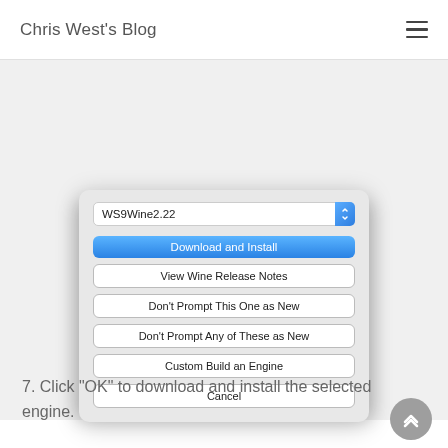Chris West's Blog
[Figure (screenshot): macOS dialog box showing a dropdown with 'WS9Wine2.22' selected, and buttons: 'Download and Install' (blue), 'View Wine Release Notes', 'Don't Prompt This One as New', 'Don't Prompt Any of These as New', 'Custom Build an Engine', 'Cancel']
7. Click "OK" to download and install the selected engine.